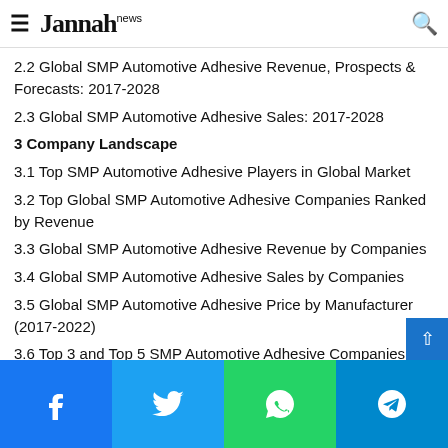Jannah news
2.2 Global SMP Automotive Adhesive Revenue, Prospects & Forecasts: 2017-2028
2.3 Global SMP Automotive Adhesive Sales: 2017-2028
3 Company Landscape
3.1 Top SMP Automotive Adhesive Players in Global Market
3.2 Top Global SMP Automotive Adhesive Companies Ranked by Revenue
3.3 Global SMP Automotive Adhesive Revenue by Companies
3.4 Global SMP Automotive Adhesive Sales by Companies
3.5 Global SMP Automotive Adhesive Price by Manufacturer (2017-2022)
3.6 Top 3 and Top 5 SMP Automotive Adhesive Companies in Global Market, by Revenue in 2021
3.7 Global Manufacturers SMP Automotive Adhesive Produ…
Facebook | Twitter | WhatsApp | Telegram